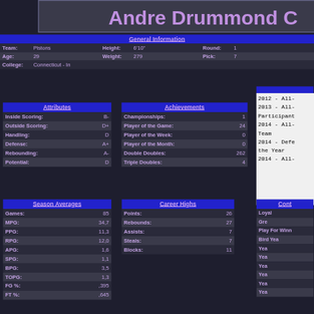Andre Drummond C
| General Information |
| --- |
| Team: | Pistons | Height: | 6'10" | Round: | 1 |
| Age: | 29 | Weight: | 279 | Pick: | 7 |
| College: | Connecticut - In |  |  |  |  |
| Attributes |
| --- |
| Inside Scoring: | B- |
| Outside Scoring: | D+ |
| Handling: | D |
| Defense: | A+ |
| Rebounding: | A- |
| Potential: | D |
| Achievements |
| --- |
| Championships: | 1 |
| Player of the Game: | 24 |
| Player of the Week: | 0 |
| Player of the Month: | 0 |
| Double Doubles: | 262 |
| Triple Doubles: | 4 |
2012 - All-
2013 - All-
Participant
2014 - All-
Team
2014 - Defe
the Year
2014 - All-
| Season Averages |
| --- |
| Games: | 85 |
| MPG: | 34,7 |
| PPG: | 11,3 |
| RPG: | 12,0 |
| APG: | 1,6 |
| SPG: | 1,1 |
| BPG: | 3,5 |
| TOPG: | 1,3 |
| FG %: | ,395 |
| FT %: | ,645 |
| Career Highs |
| --- |
| Points: | 26 |
| Rebounds: | 27 |
| Assists: | 7 |
| Steals: | 7 |
| Blocks: | 11 |
| Cont |
| --- |
| Loyal |
| Gre |
| Play For Winn |
| Bird Yea |
| Yea |
| Yea |
| Yea |
| Yea |
| Yea |
| Yea |